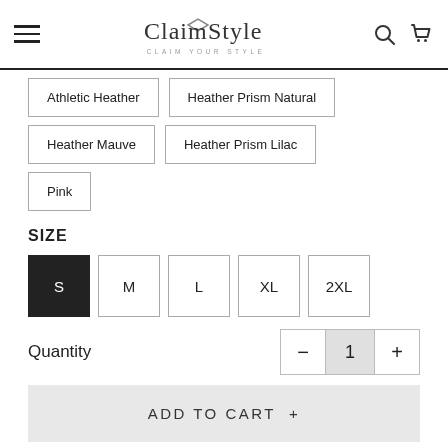[Figure (logo): Claim Your Style brand logo with cursive script text and diamond icon, CLAIM YOUR STYLE tagline below]
Athletic Heather
Heather Prism Natural
Heather Mauve
Heather Prism Lilac
Pink
SIZE
S (selected)
M
L
XL
2XL
Quantity
ADD TO CART +